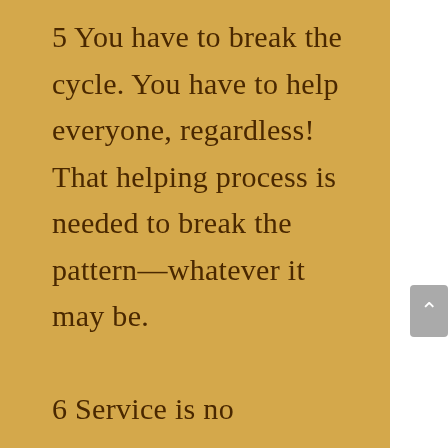5 You have to break the cycle. You have to help everyone, regardless! That helping process is needed to break the pattern—whatever it may be.

6 Service is no